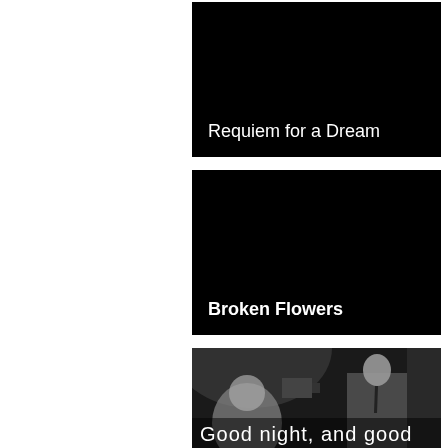[Figure (photo): Movie thumbnail for 'Requiem for a Dream' — black rectangle with white text overlay at bottom left]
Requiem for a Dream
[Figure (photo): Movie thumbnail for 'Broken Flowers' — black rectangle with white bold text overlay at bottom left]
Broken Flowers
[Figure (photo): Movie thumbnail showing a black and white scene of a man in a suit in a TV studio setting, with text overlay 'Good night, and good']
Good night, and good